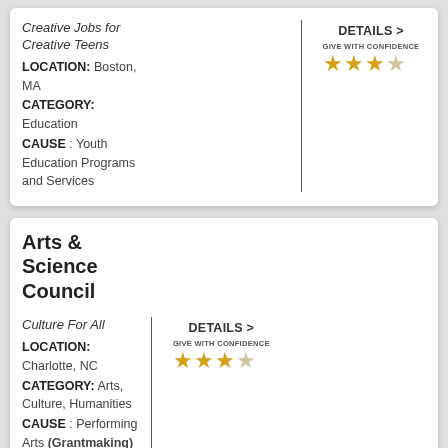Creative Jobs for Creative Teens
LOCATION: Boston, MA
CATEGORY: Education
CAUSE : Youth Education Programs and Services
DETAILS >
[Figure (other): Give With Confidence rating: 3 out of 4 stars]
Arts & Science Council
Culture For All
LOCATION: Charlotte, NC
CATEGORY: Arts, Culture, Humanities
CAUSE : Performing Arts (Grantmaking)
DETAILS >
[Figure (other): Give With Confidence rating: 3 out of 4 stars]